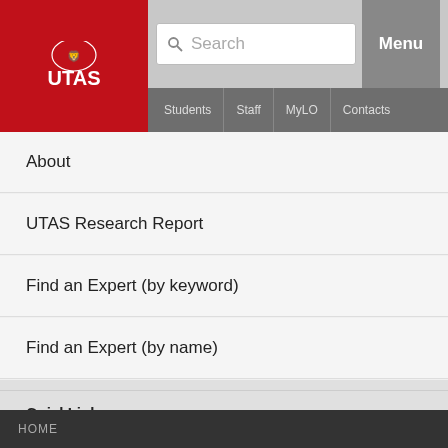[Figure (logo): UTAS university logo with lion crest on red background]
Search | Menu | Students | Staff | MyLO | Contacts
About
UTAS Research Report
Find an Expert (by keyword)
Find an Expert (by name)
QuickLinks
UTAS Staff Access
Staff Publication Upload
Research Home
eCite
HOME